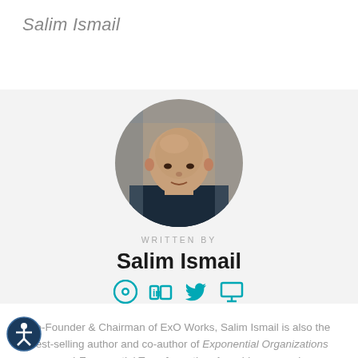Salim Ismail
[Figure (photo): Circular portrait photo of Salim Ismail, a bald man wearing a dark navy shirt, photographed against a blurred indoor background.]
WRITTEN BY
Salim Ismail
[Figure (infographic): Four teal social media icons: a circular target/crosshair icon, LinkedIn 'in' icon, Twitter bird icon, and a monitor/screen icon.]
Co-Founder & Chairman of ExO Works, Salim Ismail is also the best-selling author and co-author of Exponential Organizations and Exponential Transformation. A world renowned
[Figure (illustration): Dark blue circular accessibility button with a white stick figure icon (universal accessibility symbol).]